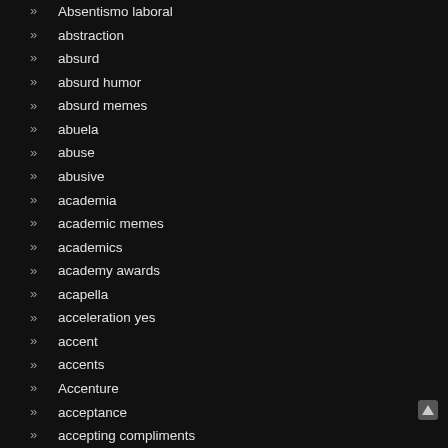Absentismo laboral
abstraction
absurd
absurd humor
absurd memes
abuela
abuse
abusive
academia
academic memes
academics
academy awards
acapella
acceleration yes
accent
accents
Accenture
acceptance
accepting compliments
Accesibilidad universal
accessories
accessory
accident
accidental
accidental alan partridge